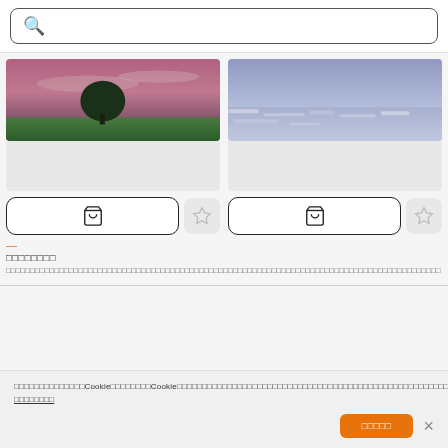[Figure (screenshot): Search bar with magnifying glass icon and placeholder text in Japanese/Chinese characters]
[Figure (photo): Landscape photo showing a tree silhouetted against a pink/purple sunset sky over a flat green field]
[Figure (photo): Landscape photo showing a body of water with a purple/blue sky and ice or snow-covered surface]
□□□□□□□□
□□□□□□□□
□□□□□□□□□□□□□□□□□□□□□□□□□□□□□□□□□□□□□□□□□□□□□□□□□□□□□□□□□□□□□□□□□□□□□□□□□□□□□□□□□□□□□□□□
□□□□□□□□□□□□□□□□□□□□□□□□□□□□□□□□□□□□□□□□□□□□□□□□□□□□□□□□□□□□□□□□□□□□□□□□□□□□□□□□□□□□□□□□
□□□□□□□□□□□□□□□□□□□□□□□□□□□□□□□□□□□□□□□□□□□□□□□□□□□□□□□□□□□□□□□□□□□□□□□□□□□□□□□□□□□□□□□□□□□□□□□□□□□□□□□□□□□□□□□□□□□□□□□□□□□□□□□□□□□□□□□□□□□□□□□□□□□□□□□□□□□□□□□□Cookie□□□□□□□□□Cookie□□□□□□□□□□□□□□□□□□□□□□□□□□□□□□□□□□□□□□□□□□□□□□□□□□□□□□□□□□□□□□□□□□□□□□□□□□□□□□□□□□□□□□□□□□□□□□□□□□□□□□□□□□□□□□□□□□□□□□□□□□□□□□□□□□□□□□□□□□□□□□□□□□□□□□□□□□□□□□□□□□□□□□□□□□□□□□Cookie□□□□□□□□□□□□□□□□□□□□ □□□□□□□□